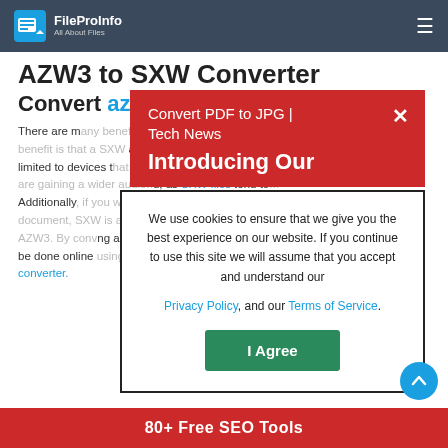FileProInfo — All About Files
AZW3 to SXW Converter
Convert azw3 to sxw online & free
There are many benefits to converting AZW3 file to SXW. Perhaps the greatest benefit is that a SXW can be read on more devices since AZW3 is limited to devices that support the format. By converting a AZW3 to SXW, you are gaining a wider audience, as SXW files tend to... Additionally, if you want to edit a document, SXW is an open document format that supports editing unlike AZW3. By converting an AZW3 file to SXW, you can accomplish that. This can be done online using the AZW3 to SXW converter.
[Figure (screenshot): Red popup overlay with title 'Convert PDF to JPG | Tech News' and subtitle 'Introducing Our' with a close (X) button]
We use cookies to ensure that we give you the best experience on our website. If you continue to use this site we will assume that you accept and understand our Privacy Policy, and our Terms of Service.
I Agree
80+ Free SEO Tools